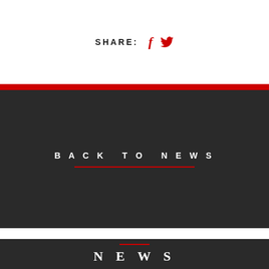SHARE: f [twitter icon]
BACK TO NEWS
NEWS